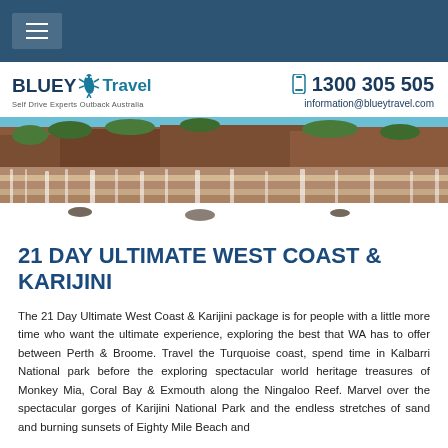Navigation bar with hamburger menu
[Figure (logo): Bluey Travel logo with gecko icon and tagline 'Self Drive Experts Outback Australia']
1300 305 505
information@blueytravel.com
[Figure (photo): Wide landscape photo of cascading waterfalls over red rock terraces with blue sky and vegetation in background — Karijini National Park style scenery]
21 DAY ULTIMATE WEST COAST & KARIJINI
The 21 Day Ultimate West Coast & Karijini package is for people with a little more time who want the ultimate experience, exploring the best that WA has to offer between Perth & Broome. Travel the Turquoise coast, spend time in Kalbarri National park before the exploring spectacular world heritage treasures of Monkey Mia, Coral Bay & Exmouth along the Ningaloo Reef. Marvel over the spectacular gorges of Karijini National Park and the endless stretches of sand and burning sunsets of Eighty Mile Beach and